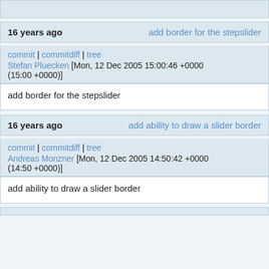16 years ago   add border for the stepslider
commit | commitdiff | tree
Stefan Pluecken [Mon, 12 Dec 2005 15:00:46 +0000 (15:00 +0000)]
add border for the stepslider
16 years ago   add ability to draw a slider border
commit | commitdiff | tree
Andreas Monzner [Mon, 12 Dec 2005 14:50:42 +0000 (14:50 +0000)]
add ability to draw a slider border